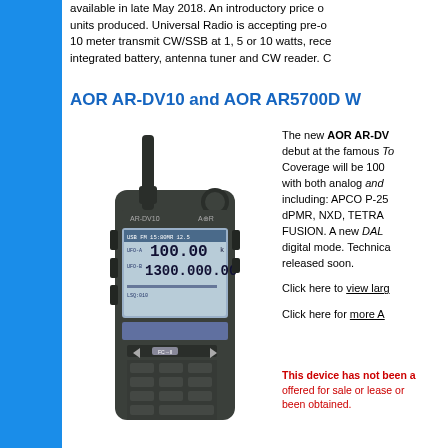available in late May 2018. An introductory price of units produced. Universal Radio is accepting pre-o 10 meter transmit CW/SSB at 1, 5 or 10 watts, rece integrated battery, antenna tuner and CW reader. C
AOR AR-DV10 and AOR AR5700D W
[Figure (photo): AOR AR-DV10 handheld digital radio scanner with antenna and display showing frequency information]
The new AOR AR-DV debut at the famous To Coverage will be 100 with both analog and including: APCO P-25 dPMR, NXD, TETRA FUSION. A new DAL digital mode. Technica released soon.

Click here to view larg

Click here for more A
This device has not been a offered for sale or lease or been obtained.